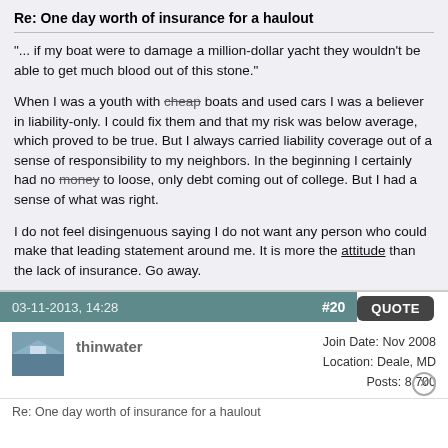Re: One day worth of insurance for a haulout
"... if my boat were to damage a million-dollar yacht they wouldn't be able to get much blood out of this stone."
When I was a youth with cheap boats and used cars I was a believer in liability-only. I could fix them and that my risk was below average, which proved to be true. But I always carried liability coverage out of a sense of responsibility to my neighbors. In the beginning I certainly had no money to loose, only debt coming out of college. But I had a sense of what was right.
I do not feel disingenuous saying I do not want any person who could make that leading statement around me. It is more the attitude than the lack of insurance. Go away.
QUOTE
03-11-2013, 14:28   #20
thinwater   Join Date: Nov 2008  Location: Deale, MD  Posts: 8,700
Re: One day worth of insurance for a haulout